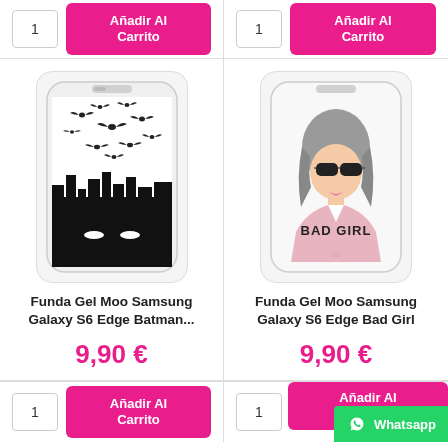[Figure (screenshot): Top portion of two product columns showing quantity input boxes and 'Añadir Al Carrito' (Add to Cart) pink buttons]
[Figure (photo): Phone case product image: white Samsung Galaxy S6 Edge case with Batman theme — black bats flying over a black city skyline with Batman mask at bottom]
[Figure (photo): Phone case product image: white Samsung Galaxy S6 Edge case with Bad Girl theme — illustrated girl with sunglasses, pink jacket, text 'BAD GIRL']
Funda Gel Moo Samsung Galaxy S6 Edge Batman...
Funda Gel Moo Samsung Galaxy S6 Edge Bad Girl
9,90 €
9,90 €
[Figure (screenshot): Bottom portion showing quantity input '1' and 'Añadir Al Carrito' pink buttons for both products, plus WhatsApp green chat button overlay]